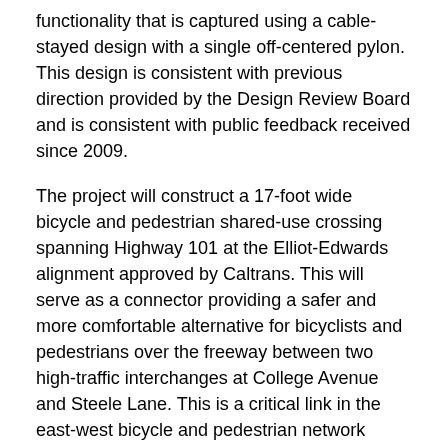functionality that is captured using a cable-stayed design with a single off-centered pylon. This design is consistent with previous direction provided by the Design Review Board and is consistent with public feedback received since 2009.
The project will construct a 17-foot wide bicycle and pedestrian shared-use crossing spanning Highway 101 at the Elliot-Edwards alignment approved by Caltrans. This will serve as a connector providing a safer and more comfortable alternative for bicyclists and pedestrians over the freeway between two high-traffic interchanges at College Avenue and Steele Lane. This is a critical link in the east-west bicycle and pedestrian network identified in the City's Bicycle and Pedestrian Master Plan Update 2018.
Following design approval, construction for the Bicycle and Pedestrian Overcrossing is anticipated to begin October 2023. Funding for the   construction phase of the project includes $12 million in federal grant funding awarded to the City from the Metropolitan Transportation Commission (MTC), a $5.1 million allocation from Senate Bill 1, $600,000 through the Transportation and Development Act, and $3.4 million state timber approved in State Transportation...